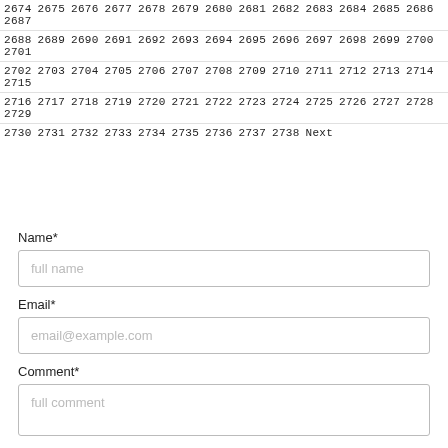2674 2675 2676 2677 2678 2679 2680 2681 2682 2683 2684 2685 2686 2687 2688 2689 2690 2691 2692 2693 2694 2695 2696 2697 2698 2699 2700 2701 2702 2703 2704 2705 2706 2707 2708 2709 2710 2711 2712 2713 2714 2715 2716 2717 2718 2719 2720 2721 2722 2723 2724 2725 2726 2727 2728 2729 2730 2731 2732 2733 2734 2735 2736 2737 2738 Next
Name*
full name
Email*
email@example.com
Comment*
full comment